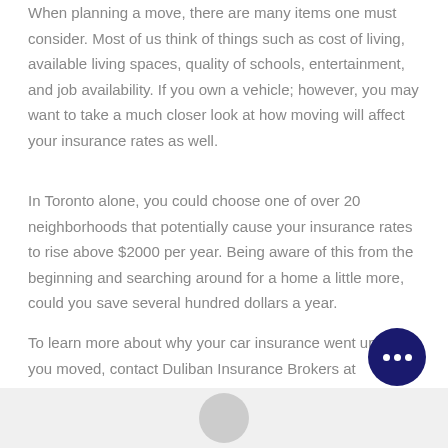When planning a move, there are many items one must consider. Most of us think of things such as cost of living, available living spaces, quality of schools, entertainment, and job availability. If you own a vehicle; however, you may want to take a much closer look at how moving will affect your insurance rates as well.
In Toronto alone, you could choose one of over 20 neighborhoods that potentially cause your insurance rates to rise above $2000 per year. Being aware of this from the beginning and searching around for a home a little more, could you save several hundred dollars a year.
To learn more about why your car insurance went up when you moved, contact Duliban Insurance Brokers at (855)-385-4226. Our licensed professionals will be happy to answer any questions you have.
[Figure (photo): Bottom portion of page showing a grey background with partial view of a person's head/shoulders, and a dark navy chat button with three dots in the lower right corner.]